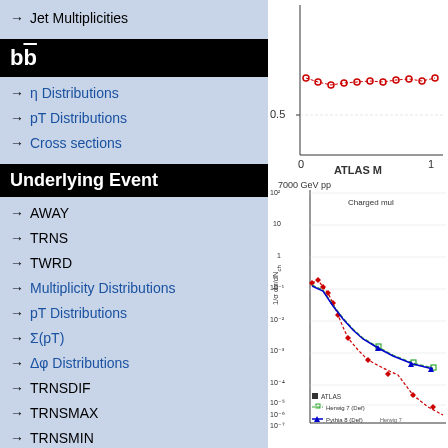→ Jet Multiplicities
bb̄
→ η Distributions
→ pT Distributions
→ Cross sections
Underlying Event
→ AWAY
→ TRNS
→ TWRD
→ Multiplicity Distributions
→ pT Distributions
→ Σ(pT)
→ Δφ Distributions
→ TRNSDIF
→ TRNSMAX
→ TRNSMIN
Soft QCD (inelastic)
→ <pT> vs Nch
[Figure (continuous-plot): Partial view of a ratio plot, y-axis showing values around 0.5-1.0, x-axis from 0 to ~10, with red data points.]
[Figure (continuous-plot): ATLAS MC plot at 7000 GeV pp showing charged multiplicity distribution 1/σ dσ/dNch vs Nch, log scale y-axis from 10^-7 to 10^2, with data points (ATLAS) and MC curves: Herwig 7 (Def) dashed green, Pythia 8 (Def) solid blue triangle.]